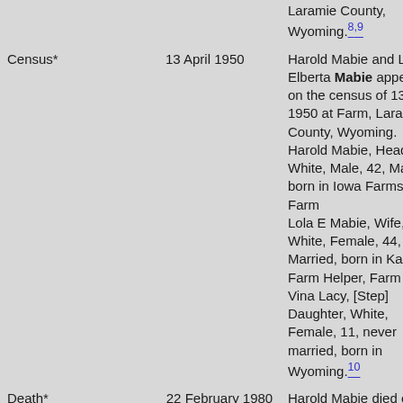| Event | Date | Description |
| --- | --- | --- |
|  |  | Laramie County, Wyoming. 8,9 |
| Census* | 13 April 1950 | Harold Mabie and Lola Elberta Mabie appeared on the census of 13 April 1950 at Farm, Laramie County, Wyoming. Harold Mabie, Head, White, Male, 42, Married, born in Iowa Farms own Farm Lola E Mabie, Wife, White, Female, 44, Married, born in Kansas, Farm Helper, Farm Vina Lacy, [Step] Daughter, White, Female, 11, never married, born in Wyoming.10 |
| Death* | 22 February 1980 | Harold Mabie died on 22 February 1980 at Cheyenne, Laramie... |